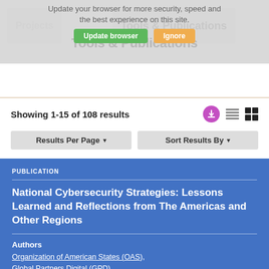Tools & Publications
Update your browser for more security, speed and the best experience on this site.
Showing 1-15 of 108 results
Results Per Page ▾
Sort Results By ▾
PUBLICATION
National Cybersecurity Strategies: Lessons Learned and Reflections from The Americas and Other Regions
Authors
Organization of American States (OAS),
Global Partners Digital (GPD)
Year
2022